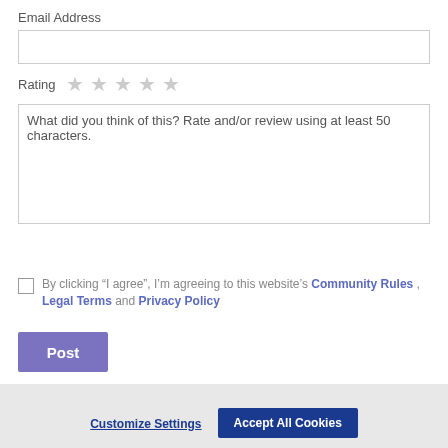Email Address
[Figure (screenshot): Email address text input field, empty, with border]
Rating ★ ★ ★ ★ ★ (empty stars)
[Figure (screenshot): Text area with placeholder: What did you think of this? Rate and/or review using at least 50 characters.]
By clicking "I agree", I'm agreeing to this website's Community Rules , Legal Terms and Privacy Policy
Post
This website uses cookies to enhance user experience and to analyze performance and traffic on our website. We also share information about your use of our site with our social media, advertising and analytics partners. Link to Cookie Policy
Customize Settings
Accept All Cookies